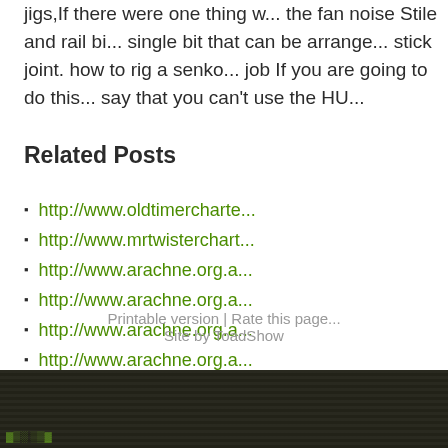jigs,If there were one thing w... the fan noise Stile and rail bi... single bit that can be arrange... stick joint. how to rig a senko... job If you are going to do this... say that you can't use the HU...
Related Posts
http://www.oldtimercharte...
http://www.mrtwisterchart...
http://www.arachne.org.a...
http://www.arachne.org.a...
http://www.arachne.org.a...
http://www.arachne.org.a...
Printable version | Rate this page... Site by ToadShow